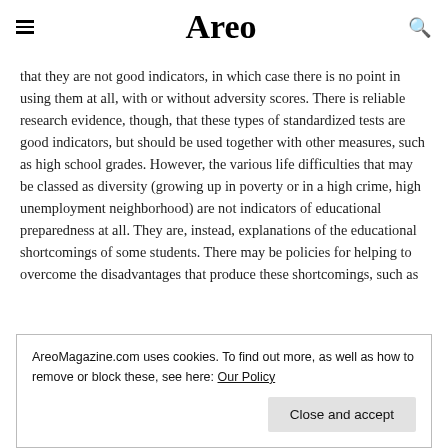Areo
that they are not good indicators, in which case there is no point in using them at all, with or without adversity scores. There is reliable research evidence, though, that these types of standardized tests are good indicators, but should be used together with other measures, such as high school grades. However, the various life difficulties that may be classed as diversity (growing up in poverty or in a high crime, high unemployment neighborhood) are not indicators of educational preparedness at all. They are, instead, explanations of the educational shortcomings of some students. There may be policies for helping to overcome the disadvantages that produce these shortcomings, such as
AreoMagazine.com uses cookies. To find out more, as well as how to remove or block these, see here: Our Policy
Close and accept